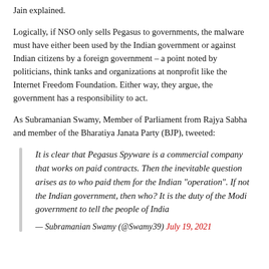Jain explained.
Logically, if NSO only sells Pegasus to governments, the malware must have either been used by the Indian government or against Indian citizens by a foreign government – a point noted by politicians, think tanks and organizations at nonprofit like the Internet Freedom Foundation. Either way, they argue, the government has a responsibility to act.
As Subramanian Swamy, Member of Parliament from Rajya Sabha and member of the Bharatiya Janata Party (BJP), tweeted:
It is clear that Pegasus Spyware is a commercial company that works on paid contracts. Then the inevitable question arises as to who paid them for the Indian “operation”. If not the Indian government, then who? It is the duty of the Modi government to tell the people of India
— Subramanian Swamy (@Swamy39) July 19, 2021